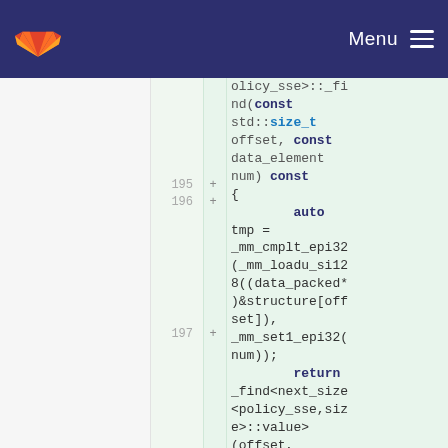GitLab navigation bar with logo and Menu button
[Figure (screenshot): GitLab code diff view showing C++ code lines 195-197 with green highlighted additions. Code includes function definition with const std::size_t offset, data_element num) const, auto tmp = _mm_cmplt_epi32(_mm_loadu_si128((data_packed*)&structure[offset]), _mm_set1_epi32(num)); and return _find<next_size<policy_sse,size>::value>(offset,]
olicy_sse>::_fi
nd(const
std::size_t
offset, const
data_element
num) const
{
        auto
tmp =
_mm_cmplt_epi32
(_mm_loadu_si128
((data_packed*)
)&structure[off
set]),
_mm_set1_epi32(
num));
        return
_find<next_size
<policy_sse,siz
e>::value>
(offset,